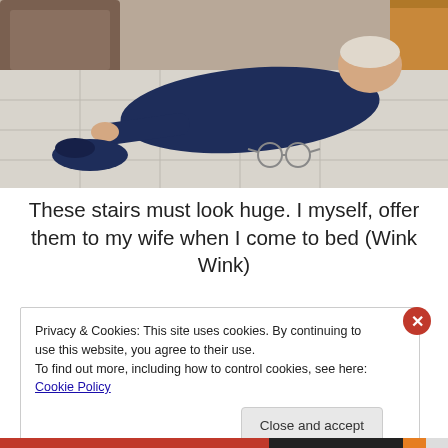[Figure (photo): Elderly person lying on a tiled floor, reaching out with one hand, a slipper on the floor nearby and glasses fallen beside them. Wooden furniture visible in background.]
These stairs must look huge. I myself, offer them to my wife when I come to bed (Wink Wink)
Privacy & Cookies: This site uses cookies. By continuing to use this website, you agree to their use.
To find out more, including how to control cookies, see here: Cookie Policy
Close and accept